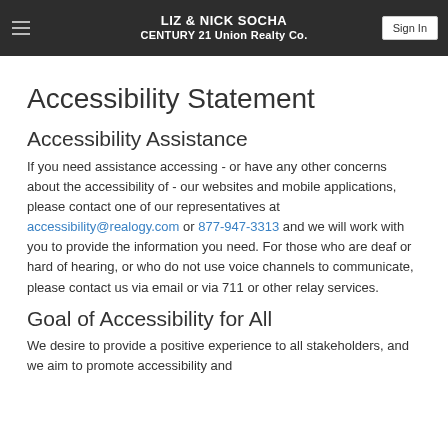LIZ & NICK SOCHA | CENTURY 21 Union Realty Co. | Sign In
Accessibility Statement
Accessibility Assistance
If you need assistance accessing - or have any other concerns about the accessibility of - our websites and mobile applications, please contact one of our representatives at accessibility@realogy.com or 877-947-3313 and we will work with you to provide the information you need. For those who are deaf or hard of hearing, or who do not use voice channels to communicate, please contact us via email or via 711 or other relay services.
Goal of Accessibility for All
We desire to provide a positive experience to all stakeholders, and we aim to promote accessibility and